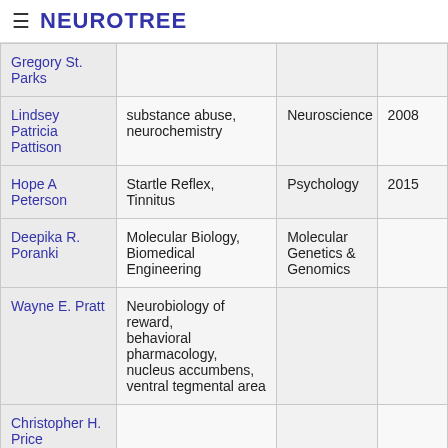≡ NEUROTREE
| Name | Topics | Field | Year |
| --- | --- | --- | --- |
| Gregory St. Parks |  |  |  |
| Lindsey Patricia Pattison | substance abuse, neurochemistry | Neuroscience | 2008 |
| Hope A Peterson | Startle Reflex, Tinnitus | Psychology | 2015 |
| Deepika R. Poranki | Molecular Biology, Biomedical Engineering | Molecular Genetics & Genomics |  |
| Wayne E. Pratt | Neurobiology of reward, behavioral pharmacology, nucleus accumbens, ventral tegmental area |  |  |
| Christopher H. Price |  |  |  |